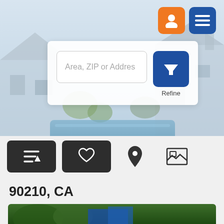[Figure (screenshot): Real estate website hero image showing a luxury house with a pool, blurred/faded background]
[Figure (screenshot): Navigation buttons: orange profile icon button and blue hamburger menu button]
[Figure (screenshot): Search panel with text input 'Area, ZIP or Addres' and blue dropdown/refine button labeled 'Refine']
[Figure (screenshot): Toolbar with sort icon button, favorites heart button, map pin icon, and photo/gallery icon]
90210, CA
253-264 of 431 Real Estate Properties found
[Figure (photo): Bottom strip showing partial photo of property listing]